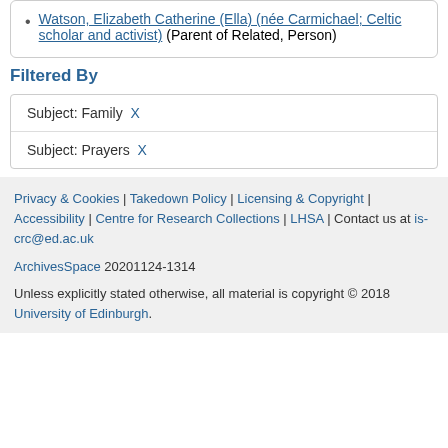Watson, Elizabeth Catherine (Ella) (née Carmichael; Celtic scholar and activist) (Parent of Related, Person)
Filtered By
| Subject: Family X |
| Subject: Prayers X |
Privacy & Cookies | Takedown Policy | Licensing & Copyright | Accessibility | Centre for Research Collections | LHSA | Contact us at is-crc@ed.ac.uk
ArchivesSpace 20201124-1314
Unless explicitly stated otherwise, all material is copyright © 2018 University of Edinburgh.